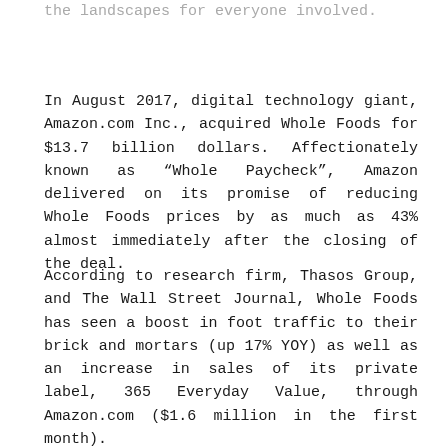the landscapes for everyone involved.
In August 2017, digital technology giant, Amazon.com Inc., acquired Whole Foods for $13.7 billion dollars. Affectionately known as “Whole Paycheck”, Amazon delivered on its promise of reducing Whole Foods prices by as much as 43% almost immediately after the closing of the deal.
According to research firm, Thasos Group, and The Wall Street Journal, Whole Foods has seen a boost in foot traffic to their brick and mortars (up 17% YOY) as well as an increase in sales of its private label, 365 Everyday Value, through Amazon.com ($1.6 million in the first month).